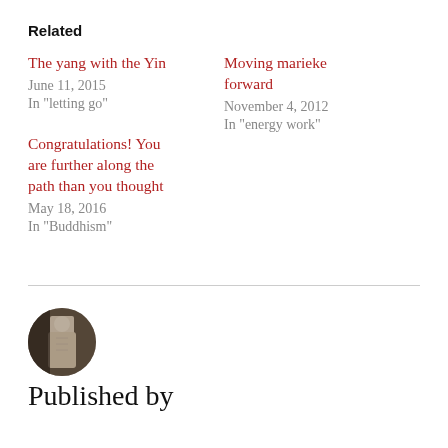Related
The yang with the Yin
June 11, 2015
In "letting go"
Moving marieke forward
November 4, 2012
In "energy work"
Congratulations! You are further along the path than you thought
May 18, 2016
In "Buddhism"
[Figure (photo): Circular avatar photo showing a stone or marble statue figure]
Published by